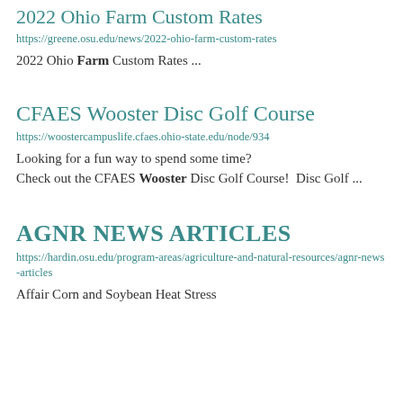2022 Ohio Farm Custom Rates
https://greene.osu.edu/news/2022-ohio-farm-custom-rates
2022 Ohio Farm Custom Rates ...
CFAES Wooster Disc Golf Course
https://woostercampuslife.cfaes.ohio-state.edu/node/934
Looking for a fun way to spend some time? Check out the CFAES Wooster Disc Golf Course!  Disc Golf ...
AGNR NEWS ARTICLES
https://hardin.osu.edu/program-areas/agriculture-and-natural-resources/agnr-news-articles
Affair Corn and Soybean Heat Stress